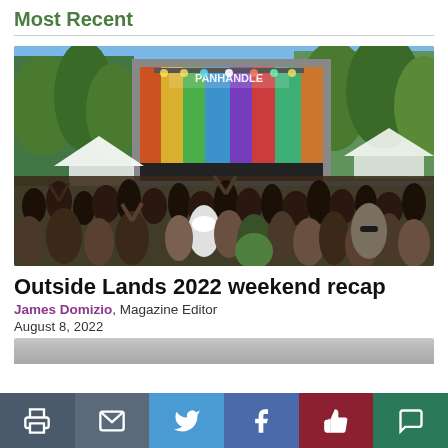Most Recent
[Figure (photo): Concert crowd at Outside Lands 2022 festival with colorful stage backdrop labeled PANHANDLE, trees in background, daytime outdoor event]
Outside Lands 2022 weekend recap
James Domizio, Magazine Editor
August 8, 2022
[Figure (photo): Partial view of a second article image, gray/muted tones, cropped at bottom]
Social share bar with print, email, Twitter, Facebook, like, and comment buttons